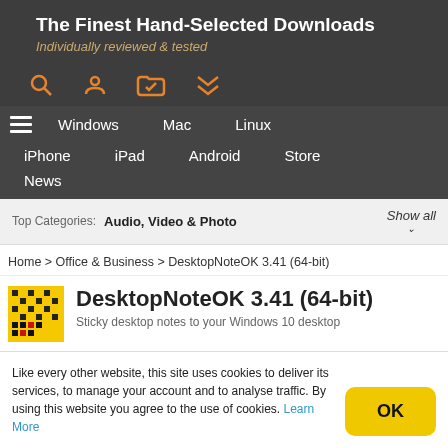The Finest Hand-Selected Downloads
Individually reviewed & tested
Windows  Mac  Linux  iPhone  iPad  Android  Store  News
Top Categories:  Audio, Video & Photo  Show all
Home > Office & Business > DesktopNoteOK 3.41 (64-bit)
DesktopNoteOK 3.41 (64-bit)
Sticky desktop notes to your Windows 10 desktop
Like every other website, this site uses cookies to deliver its services, to manage your account and to analyse traffic. By using this website you agree to the use of cookies. Learn More